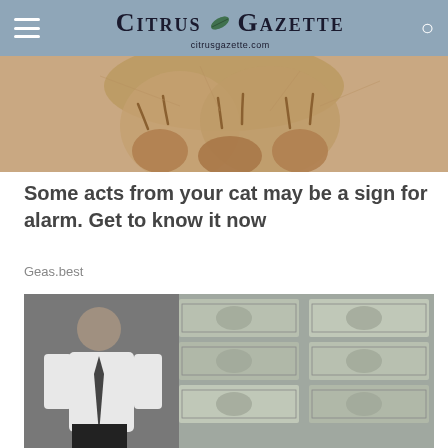Citrus Gazette — citrusgazette.com
[Figure (photo): Close-up photo of a cat's paw with claws, warm tan/brown tones, cropped at top of page]
Some acts from your cat may be a sign for alarm. Get to know it now
Geas.best
[Figure (photo): Black and white photo of a man in a white shirt and tie standing next to large stacks of bundled US dollar bills]